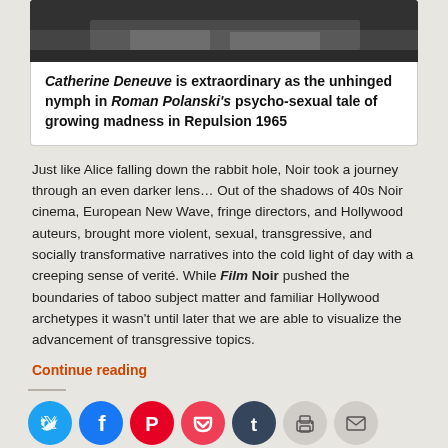[Figure (photo): Black and white photograph, partially visible at top, showing hands on a surface — cropped film still.]
Catherine Deneuve is extraordinary as the unhinged nymph in Roman Polanski's psycho-sexual tale of growing madness in Repulsion 1965
Just like Alice falling down the rabbit hole, Noir took a journey through an even darker lens… Out of the shadows of 40s Noir cinema, European New Wave, fringe directors, and Hollywood auteurs, brought more violent, sexual, transgressive, and socially transformative narratives into the cold light of day with a creeping sense of verité. While Film Noir pushed the boundaries of taboo subject matter and familiar Hollywood archetypes it wasn't until later that we are able to visualize the advancement of transgressive topics.
Continue reading
[Figure (infographic): Row of social sharing icon buttons: Twitter (blue), Facebook (blue), Pinterest (red), Pocket (red), Tumblr (dark), Print (grey), Email (grey)]
Like this: